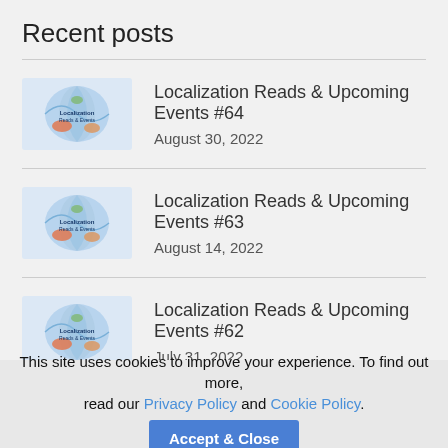Recent posts
Localization Reads & Upcoming Events #64 — August 30, 2022
Localization Reads & Upcoming Events #63 — August 14, 2022
Localization Reads & Upcoming Events #62 — July 31, 2022
This site uses cookies to improve your experience. To find out more, read our Privacy Policy and Cookie Policy.